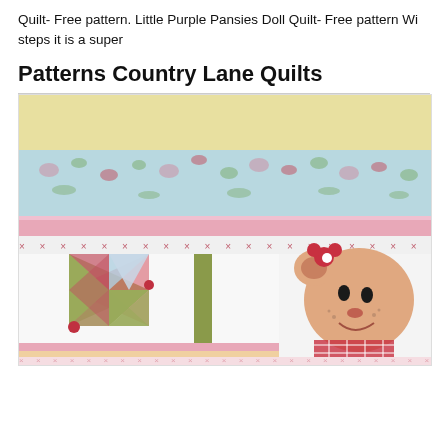Quilt- Free pattern. Little Purple Pansies Doll Quilt- Free pattern Wi... steps it is a super
Patterns Country Lane Quilts
[Figure (photo): A colorful patchwork quilt featuring pinwheel blocks in red, pink, light blue and olive green fabrics with a floral border at the top. On the right side is an appliquéd teddy bear character wearing a red gingham outfit with a flower on its head. The quilt has decorative borders with dotted and floral patterns.]